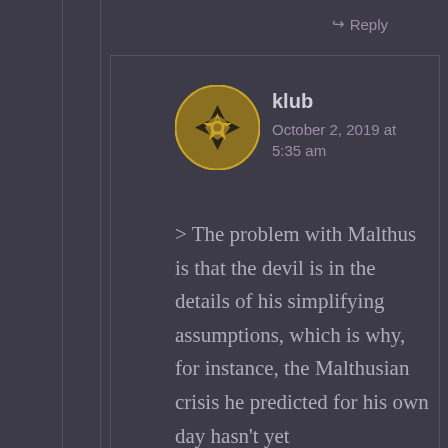↪ Reply
[Figure (illustration): Circular avatar with golden/brown decorative geometric pattern on dark background]
klub
October 2, 2019 at 5:35 am
> The problem with Malthus is that the devil is in the details of his simplifying assumptions, which is why, for instance, the Malthusian crisis he predicted for his own day hasn't yet